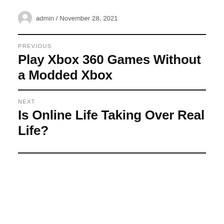admin / November 28, 2021
PREVIOUS
Play Xbox 360 Games Without a Modded Xbox
NEXT
Is Online Life Taking Over Real Life?